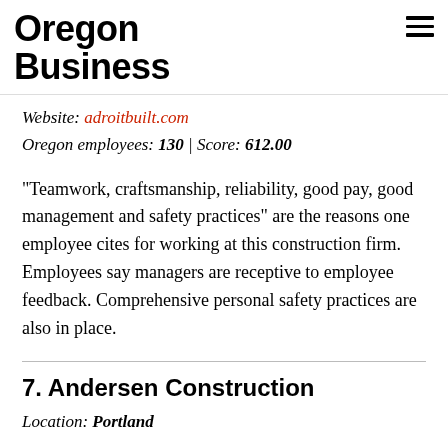Oregon Business
Website: adroitbuilt.com
Oregon employees: 130 | Score: 612.00
“Teamwork, craftsmanship, reliability, good pay, good management and safety practices” are the reasons one employee cites for working at this construction firm. Employees say managers are receptive to employee feedback. Comprehensive personal safety practices are also in place.
7. Andersen Construction
Location: Portland